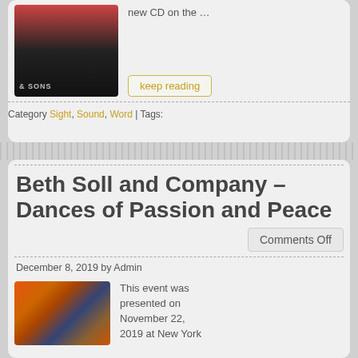[Figure (photo): Photo of a person playing piano, dark background, with '& SONS' text visible at bottom left]
new CD on the …
keep reading
Category Sight, Sound, Word | Tags:
Beth Soll and Company – Dances of Passion and Peace
Comments Off
December 8, 2019 by Admin
[Figure (photo): Abstract photo with vivid orange, red, and blue sky or fire-like colors]
This event was presented on November 22, 2019 at New York